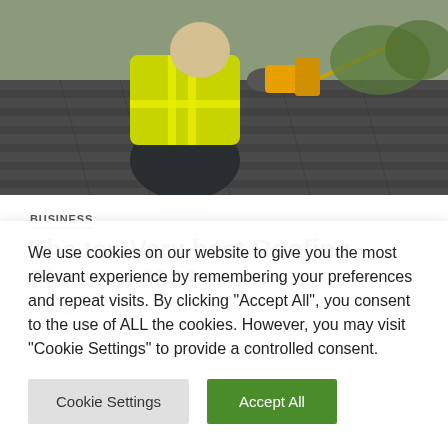[Figure (photo): A roofer wearing a yellow high-visibility vest and dark trousers kneeling on a roof, using a yellow nail gun to install dark roof shingles/tiles. The worker wears gloves and the scene is outdoors.]
BUSINESS
The ten Very best Roofing Firms of 2022
August 15, 2022   IvanFarrell
We use cookies on our website to give you the most relevant experience by remembering your preferences and repeat visits. By clicking "Accept All", you consent to the use of ALL the cookies. However, you may visit "Cookie Settings" to provide a controlled consent.
Cookie Settings   Accept All